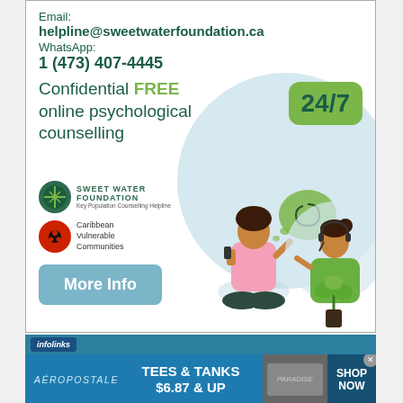[Figure (infographic): Sweet Water Foundation advertisement for confidential free online psychological counselling available 24/7. Shows email helpline@sweetwaterfoundation.ca, WhatsApp 1 (473) 407-4445, logos for Sweet Water Foundation and Caribbean Vulnerable Communities, a More Info button, and an illustration of two people in a counselling session.]
[Figure (infographic): Infolinks branded advertisement bar for Aeropostale: Tees & Tanks $6.87 & Up, Shop Now.]